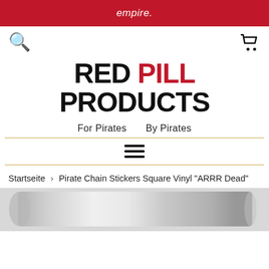empire.
[Figure (logo): RED PILL PRODUCTS logo in bold black and red text]
For Pirates   By Pirates
[Figure (other): Hamburger menu icon (three horizontal lines)]
Startseite › Pirate Chain Stickers Square Vinyl "ARRR Dead"
[Figure (photo): Product photo showing rolled vinyl sticker sheets in silver/grey]